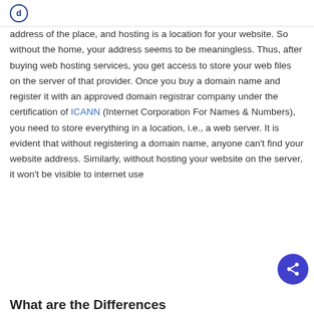address of the place, and hosting is a location for your website. So without the home, your address seems to be meaningless. Thus, after buying web hosting services, you get access to store your web files on the server of that provider. Once you buy a domain name and register it with an approved domain registrar company under the certification of ICANN (Internet Corporation For Names & Numbers), you need to store everything in a location, i.e., a web server. It is evident that without registering a domain name, anyone can't find your website address. Similarly, without hosting your website on the server, it won't be visible to internet use
What are the Differences